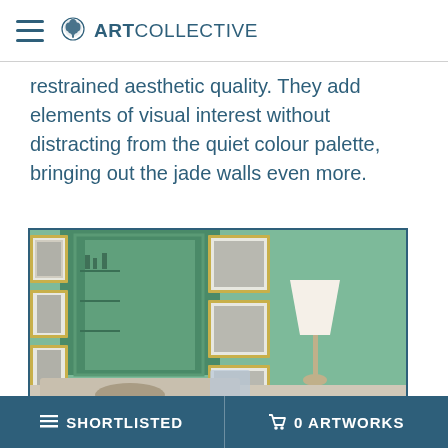ART COLLECTIVE
restrained aesthetic quality. They add elements of visual interest without distracting from the quiet colour palette, bringing out the jade walls even more.
[Figure (photo): Interior room photo showing a jade/mint green wall with gold-framed black-and-white photographs arranged in a gallery wall around a large mirror with green frame. A white lamp is visible to the right, and beige/neutral upholstered furniture in the foreground.]
SHORTLISTED   0 ARTWORKS